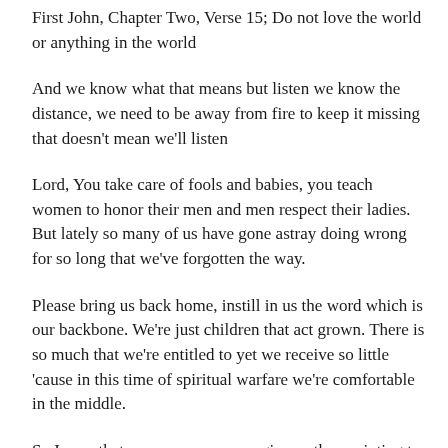First John, Chapter Two, Verse 15; Do not love the world or anything in the world
And we know what that means but listen we know the distance, we need to be away from fire to keep it missing that doesn't mean we'll listen
Lord, You take care of fools and babies, you teach women to honor their men and men respect their ladies. But lately so many of us have gone astray doing wrong for so long that we've forgotten the way.
Please bring us back home, instill in us the word which is our backbone. We're just children that act grown. There is so much that we're entitled to yet we receive so little 'cause in this time of spiritual warfare we're comfortable in the middle.
So I pray that you open our eyes, give us the anointing to recognize the Devil and his lies. If we keep our actions wise and our prayers